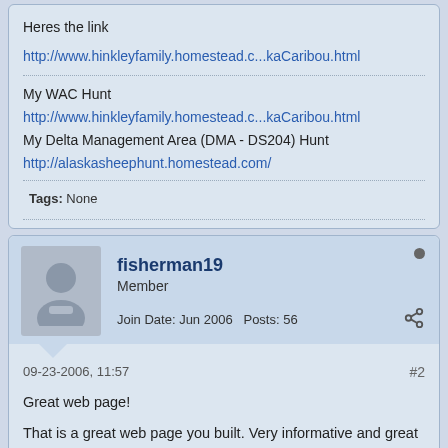Heres the link
http://www.hinkleyfamily.homestead.c...kaCaribou.html
My WAC Hunt
http://www.hinkleyfamily.homestead.c...kaCaribou.html
My Delta Management Area (DMA - DS204) Hunt
http://alaskasheephunt.homestead.com/
Tags: None
fisherman19
Member
Join Date: Jun 2006   Posts: 56
09-23-2006, 11:57
#2
Great web page!
That is a great web page you built. Very informative and great pictures Thanks. I set it to my book marks